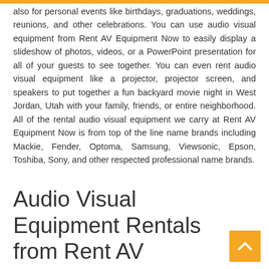also for personal events like birthdays, graduations, weddings, reunions, and other celebrations. You can use audio visual equipment from Rent AV Equipment Now to easily display a slideshow of photos, videos, or a PowerPoint presentation for all of your guests to see together. You can even rent audio visual equipment like a projector, projector screen, and speakers to put together a fun backyard movie night in West Jordan, Utah with your family, friends, or entire neighborhood. All of the rental audio visual equipment we carry at Rent AV Equipment Now is from top of the line name brands including Mackie, Fender, Optoma, Samsung, Viewsonic, Epson, Toshiba, Sony, and other respected professional name brands.
Audio Visual Equipment Rentals from Rent AV